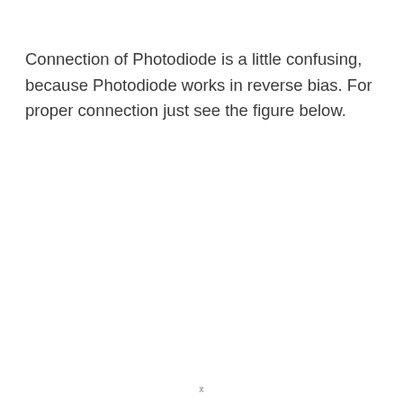Connection of Photodiode is a little confusing, because Photodiode works in reverse bias. For proper connection just see the figure below.
x